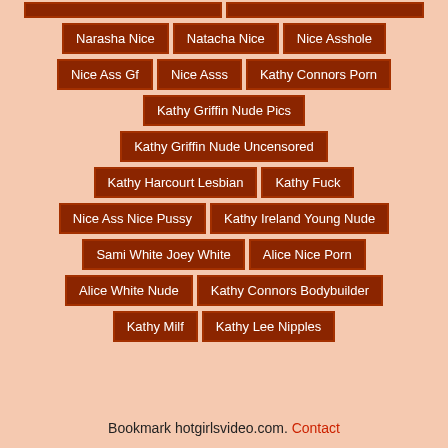Narasha Nice | Natacha Nice | Nice Asshole
Nice Ass Gf | Nice Asss | Kathy Connors Porn
Kathy Griffin Nude Pics
Kathy Griffin Nude Uncensored
Kathy Harcourt Lesbian | Kathy Fuck
Nice Ass Nice Pussy | Kathy Ireland Young Nude
Sami White Joey White | Alice Nice Porn
Alice White Nude | Kathy Connors Bodybuilder
Kathy Milf | Kathy Lee Nipples
Bookmark hotgirlsvideo.com. Contact